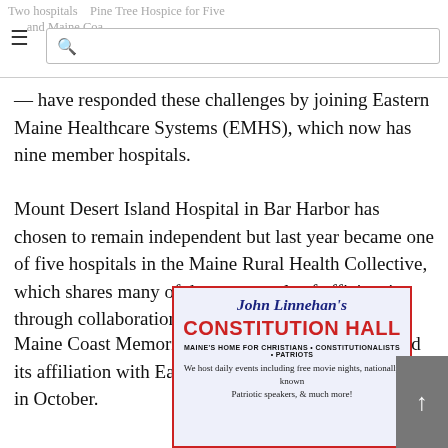Two hospitals — Pine Tree Hospice for Five — and Maine Coast... [navigation bar with hamburger menu and search]
— have responded these challenges by joining Eastern Maine Healthcare Systems (EMHS), which now has nine member hospitals.
Mount Desert Island Hospital in Bar Harbor has chosen to remain independent but last year became one of five hospitals in the Maine Rural Health Collective, which shares many of the same goals of efficiencies through collaboration as EMHS.
Maine Coast Memorial Hospital (MCMH) completed its affiliation with Eastern Maine Healthcare Systems in October.
[Figure (illustration): Advertisement for John Linnehan's Constitution Hall with red border on light blue background. Text reads: John Linnehan's CONSTITUTION HALL. MAINE'S HOME FOR CHRISTIANS • CONSTITUTIONALISTS • PATRIOTS. We host daily events including free movie nights, nationally known Patriotic speakers, & much more!]